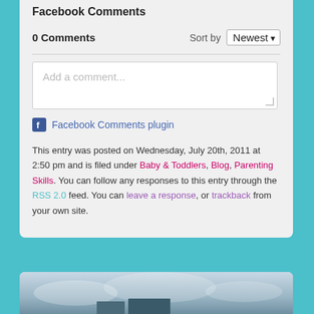Facebook Comments
0 Comments   Sort by Newest
[Figure (screenshot): Comment input box with placeholder text 'Add a comment...' and a resize handle in the bottom right corner]
Facebook Comments plugin
This entry was posted on Wednesday, July 20th, 2011 at 2:50 pm and is filed under Baby & Toddlers, Blog, Parenting Skills. You can follow any responses to this entry through the RSS 2.0 feed. You can leave a response, or trackback from your own site.
[Figure (photo): Partial view of an outdoor sky/cloud image at the bottom of the page]